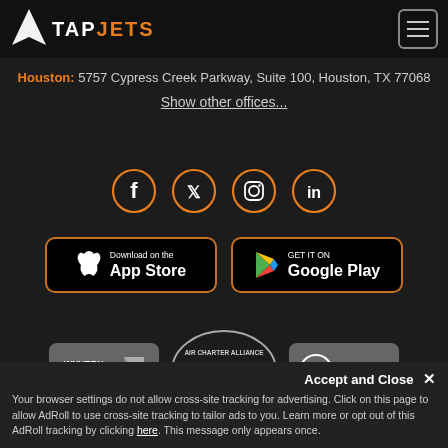TapJets
Houston: 5757 Cypress Creek Parkway, Suite 100, Houston, TX 77068
Show other offices...
[Figure (infographic): Social media icons: Facebook, Twitter, Instagram, LinkedIn — orange circle outlines]
[Figure (infographic): App store download buttons: Download on the App Store and GET IT ON Google Play]
[Figure (infographic): Partner logos: Wyvern Broker, Air Charter Alliance, NBAA]
Accept and Close ✕
Your browser settings do not allow cross-site tracking for advertising. Click on this page to allow AdRoll to use cross-site tracking to tailor ads to you. Learn more or opt out of this AdRoll tracking by clicking here. This message only appears once.